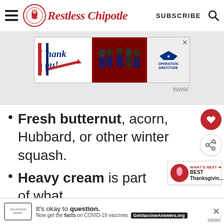Restless Chipotle — SUBSCRIBE
[Figure (screenshot): Operation Gratitude advertisement banner with 'Thank you!' text and group photo of service members]
Fresh butternut, acorn, Hubbard, or other winter squash.
Heavy cream is part of what
[Figure (screenshot): COVID-19 vaccine information ad: 'It's okay to question. Now get the facts on COVID-19 vaccines. GetVaccineAnswers.org']